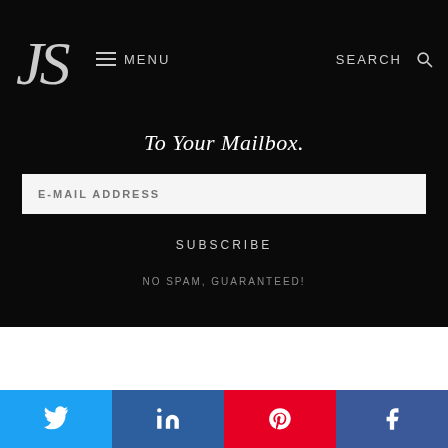JS | MENU | SEARCH
To Your Mailbox.
E-MAIL ADDRESS
SUBSCRIBE
NO SPAM, GUARANTEED!
[Figure (other): Social share buttons: Twitter, LinkedIn, Pinterest, Facebook]